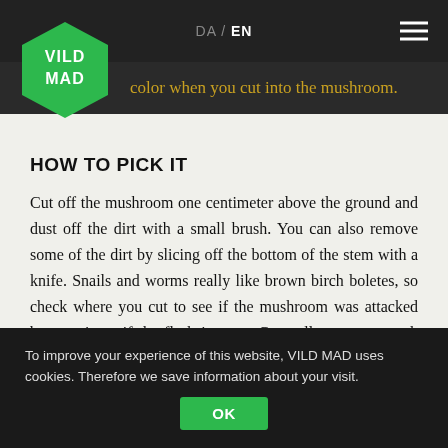DA / EN
color when you cut into the mushroom.
HOW TO PICK IT
Cut off the mushroom one centimeter above the ground and dust off the dirt with a small brush. You can also remove some of the dirt by slicing off the bottom of the stem with a knife. Snails and worms really like brown birch boletes, so check where you cut to see if the mushroom was attacked by vermin or if the flesh is even. Generally, worms attack only the stem and middle part of the cap.
To improve your experience of this website, VILD MAD uses cookies. Therefore we save information about your visit. OK